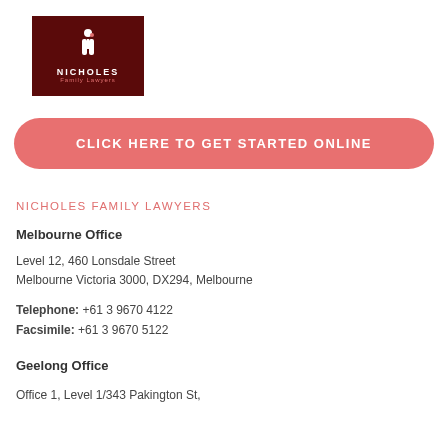[Figure (logo): Nicholes Family Lawyers logo — dark red/maroon square background with stylized person icon in white and red, text NICHOLES in white letters and Family Lawyers in pink/red below]
CLICK HERE TO GET STARTED ONLINE
NICHOLES FAMILY LAWYERS
Melbourne Office
Level 12, 460 Lonsdale Street
Melbourne Victoria 3000, DX294, Melbourne
Telephone: +61 3 9670 4122
Facsimile: +61 3 9670 5122
Geelong Office
Office 1, Level 1/343 Pakington St,